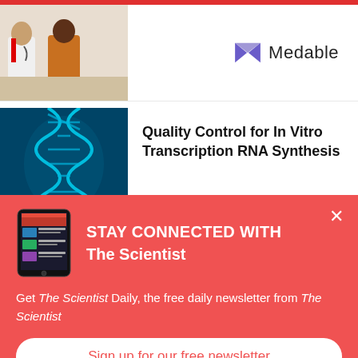[Figure (photo): Doctor and patient consultation scene, partially visible]
[Figure (logo): Medable company logo with stylized M icon in purple/blue and text 'Medable']
[Figure (photo): Blue glowing DNA double helix illustration]
Quality Control for In Vitro Transcription RNA Synthesis
[Figure (screenshot): Tablet showing The Scientist Daily newsletter app]
STAY CONNECTED WITH The Scientist
Get The Scientist Daily, the free daily newsletter from The Scientist
Sign up for our free newsletter